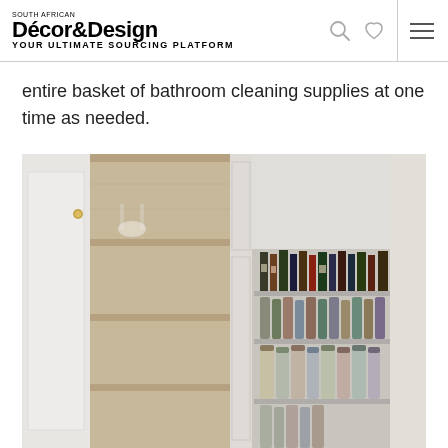Décor&Design — Your Ultimate Sourcing Platform
entire basket of bathroom cleaning supplies at one time as needed.
[Figure (photo): Open kitchen pantry cupboard with white cabinetry and wooden shelving revealing multiple shelves stocked with bottles, jars, and canned goods inside a built-in pantry space.]